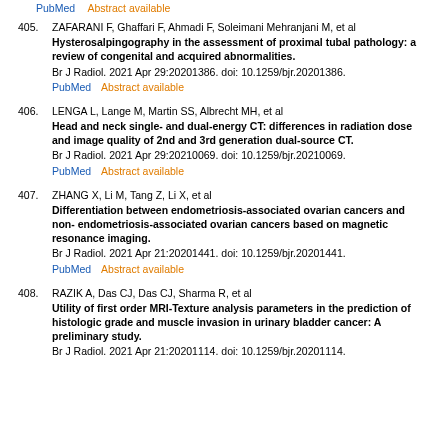405. ZAFARANI F, Ghaffari F, Ahmadi F, Soleimani Mehranjani M, et al Hysterosalpingography in the assessment of proximal tubal pathology: a review of congenital and acquired abnormalities. Br J Radiol. 2021 Apr 29:20201386. doi: 10.1259/bjr.20201386. PubMed Abstract available
406. LENGA L, Lange M, Martin SS, Albrecht MH, et al Head and neck single- and dual-energy CT: differences in radiation dose and image quality of 2nd and 3rd generation dual-source CT. Br J Radiol. 2021 Apr 29:20210069. doi: 10.1259/bjr.20210069. PubMed Abstract available
407. ZHANG X, Li M, Tang Z, Li X, et al Differentiation between endometriosis-associated ovarian cancers and non- endometriosis-associated ovarian cancers based on magnetic resonance imaging. Br J Radiol. 2021 Apr 21:20201441. doi: 10.1259/bjr.20201441. PubMed Abstract available
408. RAZIK A, Das CJ, Das CJ, Sharma R, et al Utility of first order MRI-Texture analysis parameters in the prediction of histologic grade and muscle invasion in urinary bladder cancer: A preliminary study. Br J Radiol. 2021 Apr 21:20201114. doi: 10.1259/bjr.20201114.